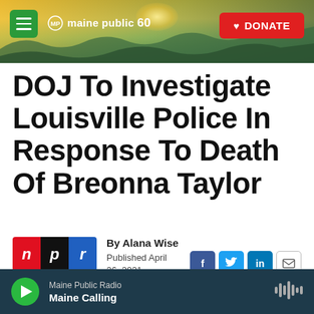[Figure (screenshot): Maine Public 60 website header with landscape photo showing sunrise over hills, green hamburger menu button on left, red DONATE button on right]
DOJ To Investigate Louisville Police In Response To Death Of Breonna Taylor
By Alana Wise
Published April 26, 2021 at 2:33 PM EDT
[Figure (logo): NPR logo with red N, black P, blue R]
[Figure (infographic): Social share buttons: Facebook (f), Twitter bird, LinkedIn (in), Email envelope]
[Figure (infographic): Maine Public Radio audio player bar showing Maine Calling program with green play button]